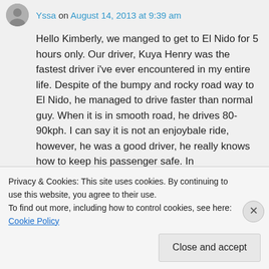Yssa on August 14, 2013 at 9:39 am
Hello Kimberly, we manged to get to El Nido for 5 hours only. Our driver, Kuya Henry was the fastest driver i've ever encountered in my entire life. Despite of the bumpy and rocky road way to El Nido, he managed to drive faster than normal guy. When it is in smooth road, he drives 80-90kph. I can say it is not an enjoybale ride, however, he was a good driver, he really knows how to keep his passenger safe. In
Privacy & Cookies: This site uses cookies. By continuing to use this website, you agree to their use.
To find out more, including how to control cookies, see here: Cookie Policy
Close and accept